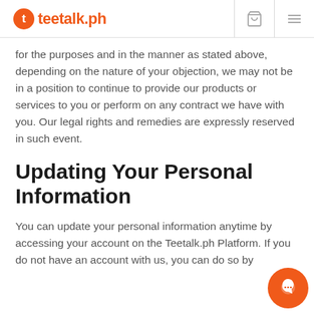teetalk.ph
for the purposes and in the manner as stated above, depending on the nature of your objection, we may not be in a position to continue to provide our products or services to you or perform on any contract we have with you. Our legal rights and remedies are expressly reserved in such event.
Updating Your Personal Information
You can update your personal information anytime by accessing your account on the Teetalk.ph Platform. If you do not have an account with us, you can do so by contacting our customer service.